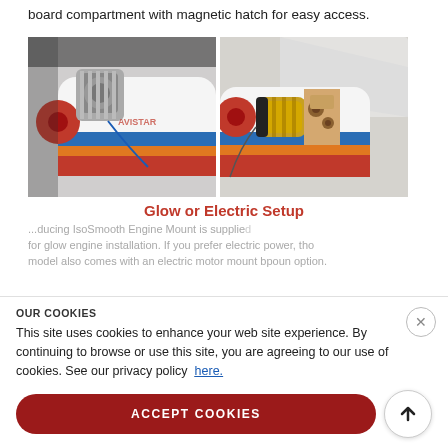board compartment with magnetic hatch for easy access.
[Figure (photo): Two side-by-side photos of an RC airplane: left shows glow engine setup with silver engine mounted on nose, right shows electric motor setup with gold motor and red spinner, both on a white plane with blue and orange stripe livery]
Glow or Electric Setup
...ducing IsoSmooth Engine Mount is supplied for glow engine installation. If you prefer electric power, the model also comes with an electric motor mount option...
OUR COOKIES
This site uses cookies to enhance your web site experience. By continuing to browse or use this site, you are agreeing to our use of cookies. See our privacy policy here.
ACCEPT COOKIES
• Wingspan: 62.5" (1590mm)